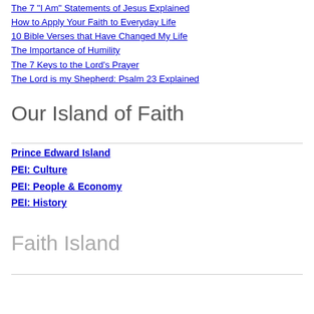The 7 "I Am" Statements of Jesus Explained
How to Apply Your Faith to Everyday Life
10 Bible Verses that Have Changed My Life
The Importance of Humility
The 7 Keys to the Lord's Prayer
The Lord is my Shepherd: Psalm 23 Explained
Our Island of Faith
Prince Edward Island
PEI: Culture
PEI: People & Economy
PEI: History
Faith Island